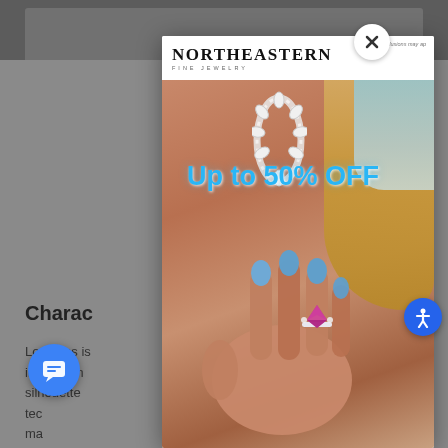[Figure (photo): Screenshot of a jewelry retailer website showing a popup modal from Northeastern Fine Jewelry with a close button, 'Up to 50% OFF' sale text in blue over a photo of a woman wearing a diamond hoop earring and a pink gemstone ring with blue painted nails. Background shows dimmed webpage content with a 'Characteristics' section header and body text about Longines watches. A blue chat button and accessibility button are visible.]
Charac
Longines is one of the most recognized brands in watchmaking, known for its sleek silhouettes, traditional designs, and use of technology. Having Longines as top manufacturers they have served for many years as the official timekeepers of multiple sports world